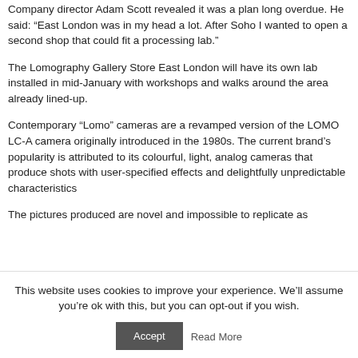Company director Adam Scott revealed it was a plan long overdue. He said: “East London was in my head a lot. After Soho I wanted to open a second shop that could fit a processing lab.”
The Lomography Gallery Store East London will have its own lab installed in mid-January with workshops and walks around the area already lined-up.
Contemporary “Lomo” cameras are a revamped version of the LOMO LC-A camera originally introduced in the 1980s. The current brand’s popularity is attributed to its colourful, light, analog cameras that produce shots with user-specified effects and delightfully unpredictable characteristics
The pictures produced are novel and impossible to replicate as
This website uses cookies to improve your experience. We’ll assume you’re ok with this, but you can opt-out if you wish.
Accept | Read More